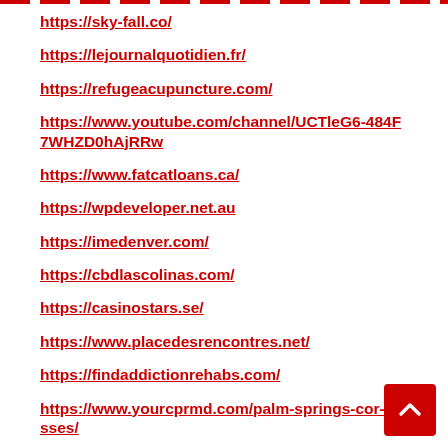https://sky-fall.co/
https://lejournalquotidien.fr/
https://refugeacupuncture.com/
https://www.youtube.com/channel/UCTleG6-484F7WHZD0hAjRRw
https://www.fatcatloans.ca/
https://wpdeveloper.net.au
https://imedenver.com/
https://cbdlascolinas.com/
https://casinostars.se/
https://www.placedesrencontres.net/
https://findaddictionrehabs.com/
https://www.yourcprmd.com/palm-springs-cor-classes/
https://linktr.ee/themarineking